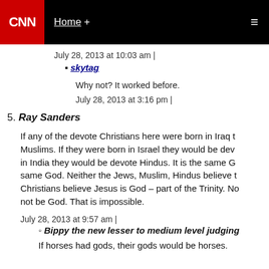CNN | Home +
July 28, 2013 at 10:03 am |
skytag
Why not? It worked before.
July 28, 2013 at 3:16 pm |
5. Ray Sanders
If any of the devote Christians here were born in Iraq they would be devote Muslims. If they were born in Israel they would be devote Jews. If born in India they would be devote Hindus. It is the same God. They all worship the same God. Neither the Jews, Muslim, Hindus believe the same as Christians. Christians believe Jesus is God – part of the Trinity. No they believe Jesus can not be God. That is impossible.
July 28, 2013 at 9:57 am |
Bippy the new lesser to medium level judging
If horses had gods, their gods would be horses.